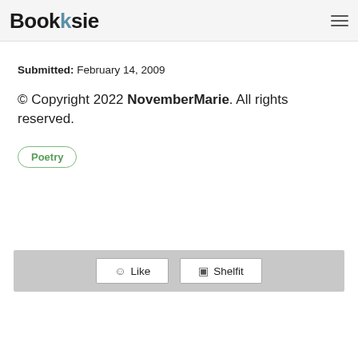Booksie
Submitted: February 14, 2009
© Copyright 2022 NovemberMarie. All rights reserved.
Poetry
Like  Shelfit